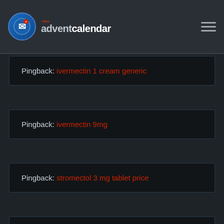mx adventcalendar
Pingback: ivermectin 1 cream generic
Pingback: ivermectin 9mg
Pingback: stromectol 3 mg tablet price
Pingback: ivermectin 0.08 oral solution
Pingback: ivermectin 1 cream generic